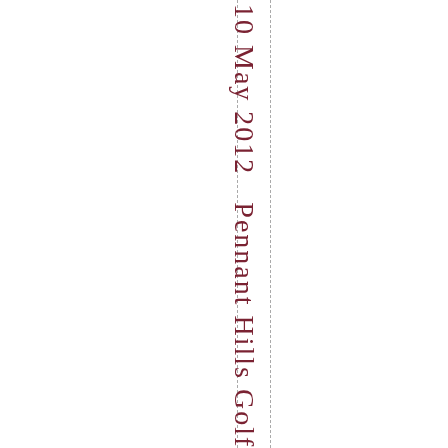10 May 2012  Pennant Hills Golf Club,